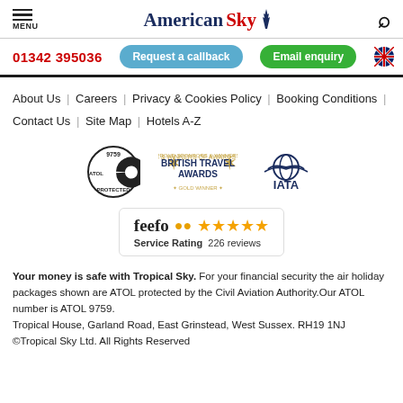MENU | American Sky | Search
01342 395036 | Request a callback | Email enquiry
About Us | Careers | Privacy & Cookies Policy | Booking Conditions | Contact Us | Site Map | Hotels A-Z
[Figure (logo): ATOL Protected 9759 badge, British Travel Awards logo, IATA logo]
[Figure (infographic): Feefo Service Rating 226 reviews with 5 stars]
Your money is safe with Tropical Sky. For your financial security the air holiday packages shown are ATOL protected by the Civil Aviation Authority.Our ATOL number is ATOL 9759. Tropical House, Garland Road, East Grinstead, West Sussex. RH19 1NJ ©Tropical Sky Ltd. All Rights Reserved